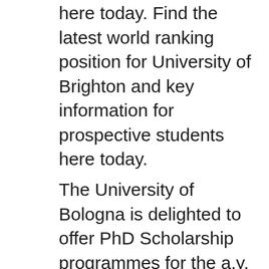here today. Find the latest world ranking position for University of Brighton and key information for prospective students here today.
The University of Bologna is delighted to offer PhD Scholarship programmes for the a.y. 2018/2019 (cycle 34th). International (Non-EU) students are University of Bologna in Bologna Italy - information about programs, tuition, ranking, admission process, deadlines - UniversitÀ di Bologna UNIBO founded in 1088 Italy
The University of Bologna, Italy provides study grants to the applicants who wants to get registered for the First...